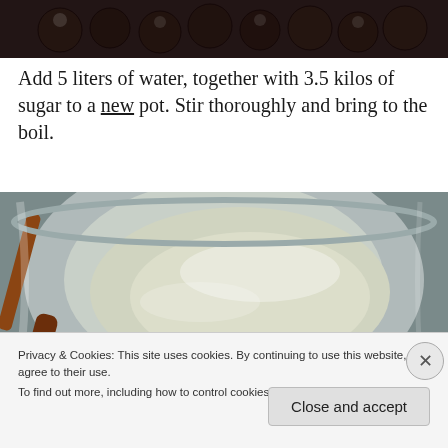[Figure (photo): Top portion of a photo showing dark round fruits/berries on a white surface, partially cropped at top of page]
Add 5 liters of water, together with 3.5 kilos of sugar to a new pot. Stir thoroughly and bring to the boil.
[Figure (photo): A large metal pot with water and a wooden spoon/spatula, showing a sugar-water solution being stirred]
Privacy & Cookies: This site uses cookies. By continuing to use this website, you agree to their use.
To find out more, including how to control cookies, see here: Cookie Policy